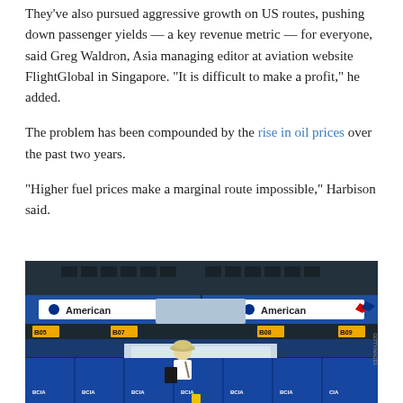They've also pursued aggressive growth on US routes, pushing down passenger yields — a key revenue metric — for everyone, said Greg Waldron, Asia managing editor at aviation website FlightGlobal in Singapore. “It is difficult to make a profit,” he added.
The problem has been compounded by the rise in oil prices over the past two years.
“Higher fuel prices make a marginal route impossible,” Harbison said.
[Figure (photo): Airport check-in area with American Airlines counters and signage. A traveler with luggage stands at the counter. Blue check-in desks with BCIA labels are visible in the foreground.]